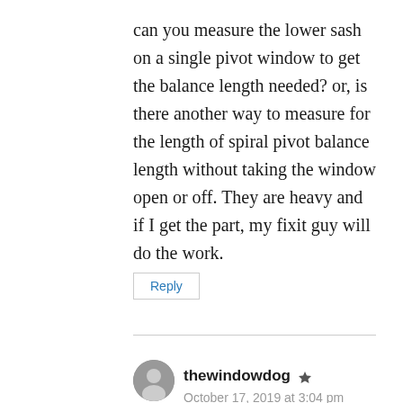can you measure the lower sash on a single pivot window to get the balance length needed? or, is there another way to measure for the length of spiral pivot balance length without taking the window open or off. They are heavy and if I get the part, my fixit guy will do the work.
Reply
thewindowdog
October 17, 2019 at 3:04 pm
Good question, you can probably get close enough by just measuring the height of